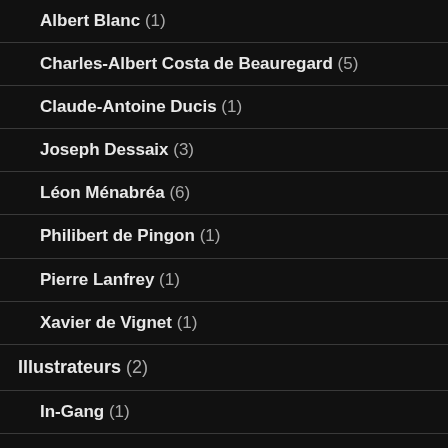Albert Blanc (1)
Charles-Albert Costa de Beauregard (5)
Claude-Antoine Ducis (1)
Joseph Dessaix (3)
Léon Ménabréa (6)
Philibert de Pingon (1)
Pierre Lanfrey (1)
Xavier de Vignet (1)
Illustrateurs (2)
In-Gang (1)
J. R. R. Tolkien (2)
Littérature anglophone (7)
Julian Barnes (5)